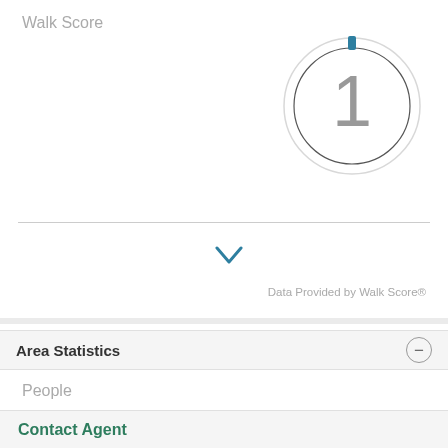Walk Score
[Figure (other): Walk Score gauge showing score of 1 out of 100, displayed as a circular dial with a small blue indicator at the top and large gray number 1 in the center]
Data Provided by Walk Score®
Area Statistics
People
Contact Agent